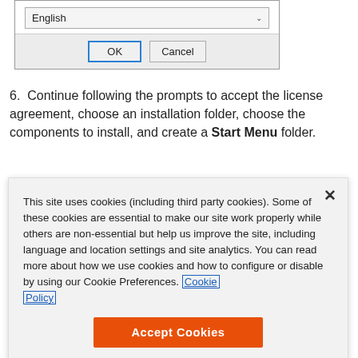[Figure (screenshot): A dialog box showing a language dropdown set to 'English' with OK and Cancel buttons at the bottom.]
6. Continue following the prompts to accept the license agreement, choose an installation folder, choose the components to install, and create a Start Menu folder.
[Figure (screenshot): A cookie consent popup overlay with a close X button, explanatory text about cookies including a 'Cookie Policy' link with a border, and an orange 'Accept Cookies' button.]